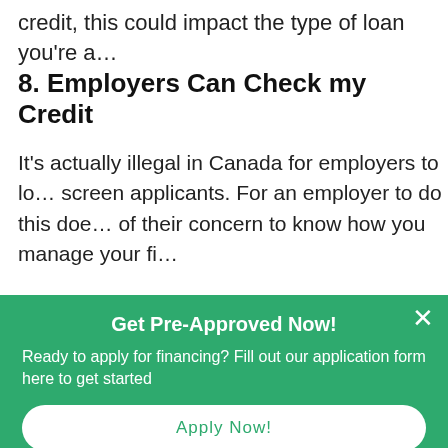credit, this could impact the type of loan you're a…
8. Employers Can Check my Credit
It's actually illegal in Canada for employers to lo… screen applicants. For an employer to do this doe… of their concern to know how you manage your fi…
S… (partially visible faded text)
Get Pre-Approved Now!
Ready to apply for financing? Fill out our application form here to get started
Apply Now!